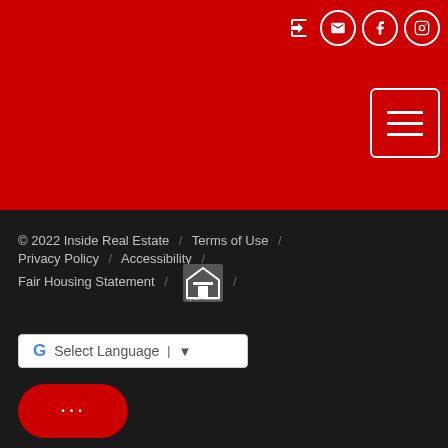[Figure (screenshot): Red header bar with social media icons (login, email, Facebook, Instagram) and hamburger menu button]
any such preference, limitation or discrimination. MetroList CA JRP data last updated: August 20, 2022 10:11 AM UTC   Terms of Use. Vendor data provided by Inside Real Estate, LLC.
© 2022 Inside Real Estate / Terms of Use / Privacy Policy / Accessibility / Fair Housing Statement / [FHEO Logo] / Select Language ▼